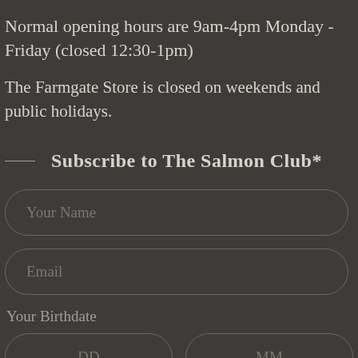Normal opening hours are 9am-4pm Monday - Friday (closed 12:30-1pm)
The Farmgate Store is closed on weekends and public holidays.
Subscribe to The Salmon Club*
Your Name
Email
Your Birthdate
DD
MM